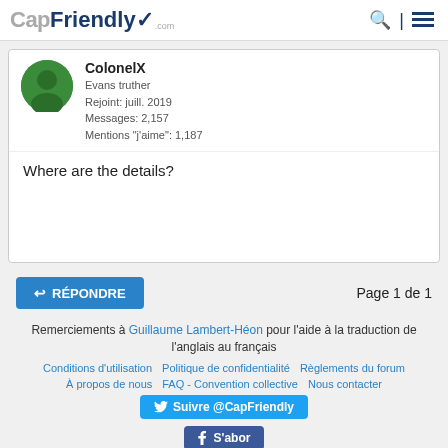CapFriendly
ColonelX
Evans truther
Rejoint: juill. 2019
Messages: 2,157
Mentions "j'aime": 1,187
Where are the details?
RÉPONDRE   Page 1 de 1
Remerciements à Guillaume Lambert-Héon pour l'aide à la traduction de l'anglais au français
Conditions d'utilisation   Politique de confidentialité   Règlements du forum   À propos de nous   FAQ - Convention collective   Nous contacter
Suivre @CapFriendly
S'abor
© 2022 CapFriendly.com